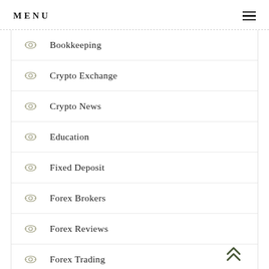MENU
Bookkeeping
Crypto Exchange
Crypto News
Education
Fixed Deposit
Forex Brokers
Forex Reviews
Forex Trading
GOWD